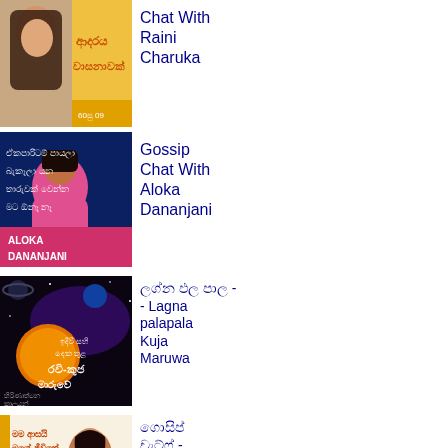[Figure (illustration): Thumbnail image of a young woman with Sinhala text and orange/yellow background saying 'ආදරය වාසනාවක්']
Chat With Raini Charuka
[Figure (illustration): Thumbnail of woman named Aloka Dananjani in pink hoodie with dark blue background and Sinhala text]
Gossip Chat With Aloka Dananjani
[Figure (illustration): Space-themed thumbnail with planets and Sinhala text about Ravi-Kuja Maruwa / Lagna palapala]
ලග්න ඵල පාල - Lagna palapala Kuja Maruwa
[Figure (illustration): Book/magazine thumbnail with woman and Sinhala text, related to Gossip Chat With Chamathka]
ගොසිප් චැට්ෆ් - Gossip Chat With Chamathka